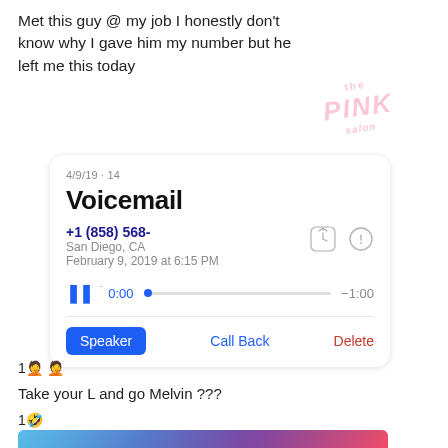Met this guy @ my job I honestly don't know why I gave him my number but he left me this today
[Figure (screenshot): iPhone voicemail screen showing: Voicemail, +1 (858) 568- from San Diego, CA on February 9, 2019 at 6:15 PM, with pause button showing 0:00 / -1:00 timeline, Speaker button (blue), Call Back (blue), Delete (red)]
1🤦 🤦
Take your L and go Melvin ???
1🤣
[Figure (photo): Photo of two men in a colorful room with blue and pink lighting, one with hand on head, the other wearing a cap and chain]